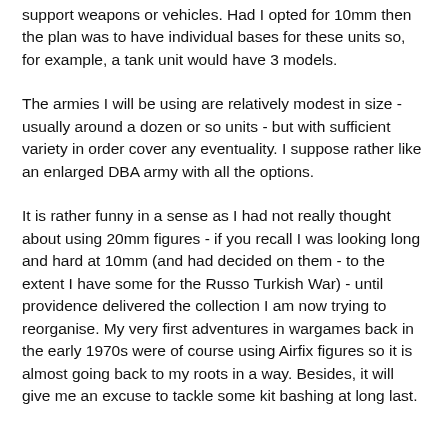support weapons or vehicles. Had I opted for 10mm then the plan was to have individual bases for these units so, for example, a tank unit would have 3 models.
The armies I will be using are relatively modest in size - usually around a dozen or so units - but with sufficient variety in order cover any eventuality. I suppose rather like an enlarged DBA army with all the options.
It is rather funny in a sense as I had not really thought about using 20mm figures - if you recall I was looking long and hard at 10mm (and had decided on them - to the extent I have some for the Russo Turkish War) - until providence delivered the collection I am now trying to reorganise. My very first adventures in wargames back in the early 1970s were of course using Airfix figures so it is almost going back to my roots in a way. Besides, it will give me an excuse to tackle some kit bashing at long last.